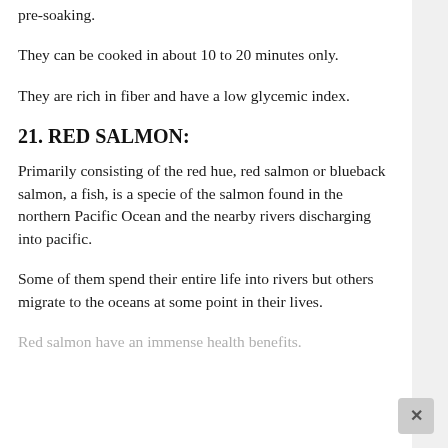pre-soaking.
They can be cooked in about 10 to 20 minutes only.
They are rich in fiber and have a low glycemic index.
21. RED SALMON:
Primarily consisting of the red hue, red salmon or blueback salmon, a fish, is a specie of the salmon found in the northern Pacific Ocean and the nearby rivers discharging into pacific.
Some of them spend their entire life into rivers but others migrate to the oceans at some point in their lives.
Red salmon have an immense health benefits.